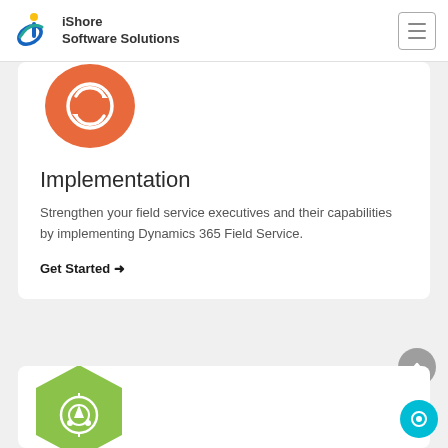iShore Software Solutions
[Figure (logo): iShore Software Solutions logo with stylized 'i' icon in blue and yellow]
[Figure (illustration): Orange blob/shield shape with white circular arrow icon representing Implementation service]
Implementation
Strengthen your field service executives and their capabilities by implementing Dynamics 365 Field Service.
Get Started →
[Figure (illustration): Green hexagonal shape with white target/radar icon representing another service section]